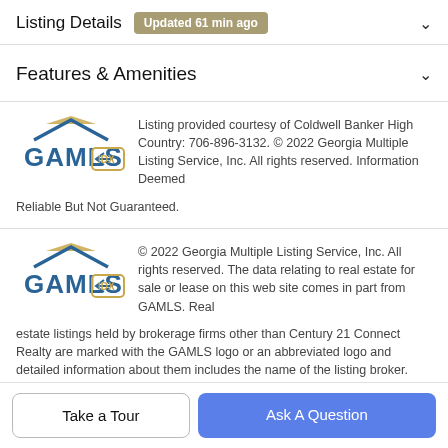Listing Details  Updated 61 min ago
Features & Amenities
Listing provided courtesy of Coldwell Banker High Country: 706-896-3132. © 2022 Georgia Multiple Listing Service, Inc. All rights reserved. Information Deemed Reliable But Not Guaranteed.
© 2022 Georgia Multiple Listing Service, Inc. All rights reserved. The data relating to real estate for sale or lease on this web site comes in part from GAMLS. Real estate listings held by brokerage firms other than Century 21 Connect Realty are marked with the GAMLS logo or an abbreviated logo and detailed information about them includes the name of the listing broker. IDX information is provided exclusively
Take a Tour
Ask A Question